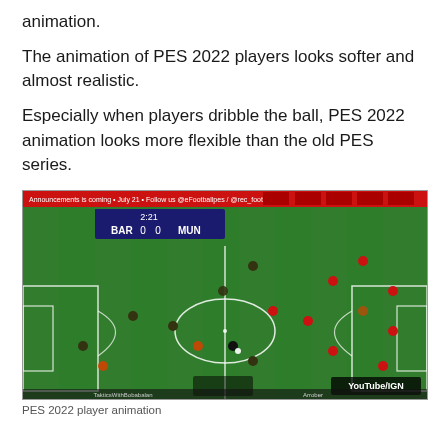animation.
The animation of PES 2022 players looks softer and almost realistic.
Especially when players dribble the ball, PES 2022 animation looks more flexible than the old PES series.
[Figure (screenshot): A screenshot from a PES 2022 gameplay video showing a football/soccer match between BAR and MUN (Barcelona vs Manchester United), score 0-0 at 2:21. Players in red and dark kits are visible on a green striped football pitch. A 'YouTube/IGN' watermark is in the bottom right corner. A red banner runs across the top.]
PES 2022 player animation